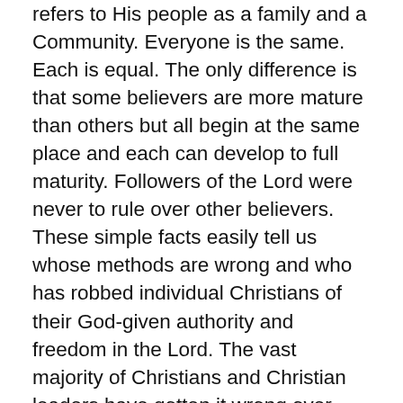refers to His people as a family and a Community. Everyone is the same. Each is equal. The only difference is that some believers are more mature than others but all begin at the same place and each can develop to full maturity. Followers of the Lord were never to rule over other believers. These simple facts easily tell us whose methods are wrong and who has robbed individual Christians of their God-given authority and freedom in the Lord. The vast majority of Christians and Christian leaders have gotten it wrong over these last twenty centuries. An extremely small class, the Clergy, has taken over and believes itself to be far superior. The vast 99% of everyone else, the Laity, has surrendered to a false authority as a wimpy dog to a pack leader. The people who comprise these classes will not fare well at the Judgment. The Lord will reprimand one for taking authority He never granted and He will reprimand the other for never taking the